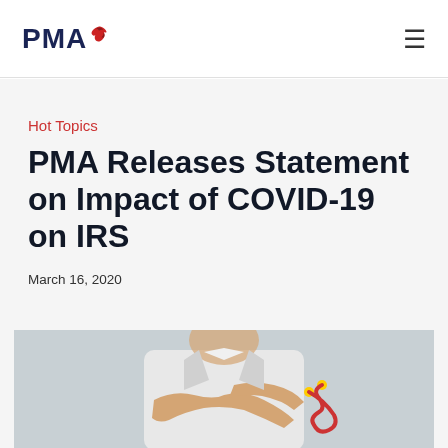PMA
Hot Topics
PMA Releases Statement on Impact of COVID-19 on IRS
March 16, 2020
[Figure (photo): Doctor in white coat with arms crossed holding a red stethoscope]